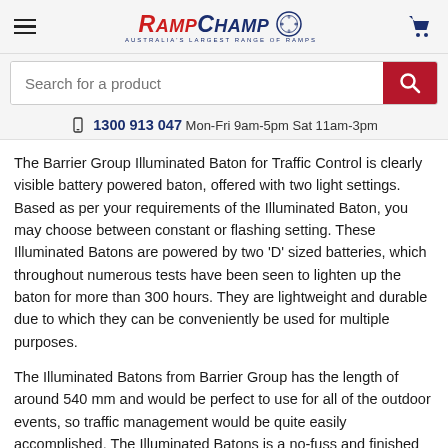RampChamp — Australia's Largest Range of Ramps
Search for a product
1300 913 047 Mon-Fri 9am-5pm Sat 11am-3pm
The Barrier Group Illuminated Baton for Traffic Control is clearly visible battery powered baton, offered with two light settings. Based as per your requirements of the Illuminated Baton, you may choose between constant or flashing setting. These Illuminated Batons are powered by two 'D' sized batteries, which throughout numerous tests have been seen to lighten up the baton for more than 300 hours. They are lightweight and durable due to which they can be conveniently be used for multiple purposes.
The Illuminated Batons from Barrier Group has the length of around 540 mm and would be perfect to use for all of the outdoor events, so traffic management would be quite easily accomplished. The Illuminated Batons is a no-fuss and finished product.